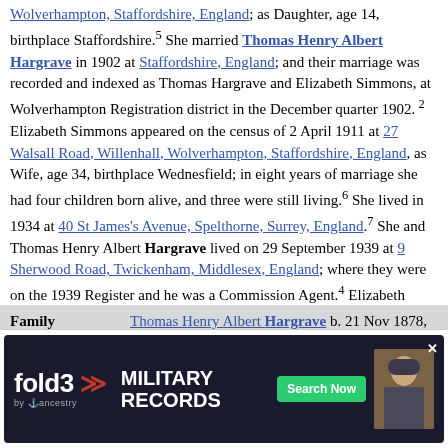Wolverhampton, Staffordshire, England; as Daughter, age 14, birthplace Staffordshire.5 She married Thomas Henry Albert Hargrave in 1902 at Staffordshire, England; and their marriage was recorded and indexed as Thomas Hargrave and Elizabeth Simmons, at Wolverhampton Registration district in the December quarter 1902.2 Elizabeth Simmons appeared on the census of 2 April 1911 at 27 Walsall Road, Willenhall, Wolverhampton, Staffordshire, England, as Wife, age 34, birthplace Wednesfield; in eight years of marriage she had four children born alive, and three were still living.6 She lived in 1934 at 40 St James's Avenue, Spelthorne, Surrey, England.7 She and Thomas Henry Albert Hargrave lived on 29 September 1939 at 9 Sherwood Road, Twickenham, Middlesex, England; where they were on the 1939 Register and he was a Commission Agent.4 Elizabeth Simmons died in 1955 at Middlesex, England; and her death was recorded at Middlesex South Registration district in the December quarter 1955.8
| Field | Value |
| --- | --- |
| Family | Thomas Henry Albert Hargrave b. 21 Nov 1878, d. 3 Oct 1975 |
| Children | Harold Thomas H... b. 8 ... d. b |
[Figure (screenshot): Fold3 Military Records advertisement banner with search button and soldier photo]